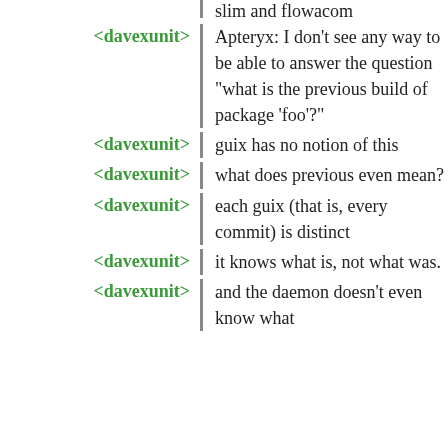slim and flowacom
<davexunit> Apteryx: I don't see any way to be able to answer the question "what is the previous build of package 'foo'?"
<davexunit> guix has no notion of this
<davexunit> what does previous even mean?
<davexunit> each guix (that is, every commit) is distinct
<davexunit> it knows what is, not what was.
<davexunit> and the daemon doesn't even know what